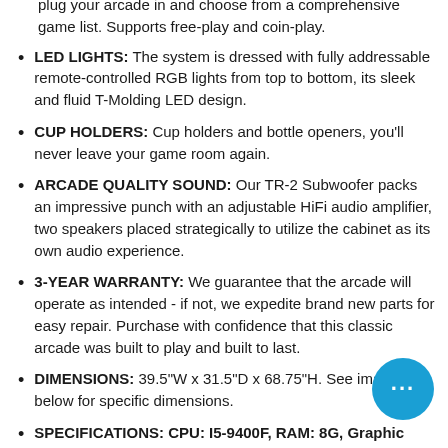plug your arcade in and choose from a comprehensive game list. Supports free-play and coin-play.
LED LIGHTS: The system is dressed with fully addressable remote-controlled RGB lights from top to bottom, its sleek and fluid T-Molding LED design.
CUP HOLDERS: Cup holders and bottle openers, you'll never leave your game room again.
ARCADE QUALITY SOUND: Our TR-2 Subwoofer packs an impressive punch with an adjustable HiFi audio amplifier, two speakers placed strategically to utilize the cabinet as its own audio experience.
3-YEAR WARRANTY: We guarantee that the arcade will operate as intended - if not, we expedite brand new parts for easy repair. Purchase with confidence that this classic arcade was built to play and built to last.
DIMENSIONS: 39.5"W x 31.5"D x 68.75"H. See images below for specific dimensions.
SPECIFICATIONS: CPU: I5-9400F, RAM: 8G, Graphic Card: GTX 750Ti, SSD: 480 GB